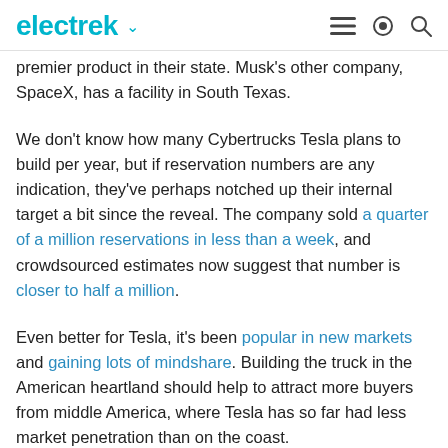electrek
premier product in their state. Musk's other company, SpaceX, has a facility in South Texas.
We don't know how many Cybertrucks Tesla plans to build per year, but if reservation numbers are any indication, they've perhaps notched up their internal target a bit since the reveal. The company sold a quarter of a million reservations in less than a week, and crowdsourced estimates now suggest that number is closer to half a million.
Even better for Tesla, it's been popular in new markets and gaining lots of mindshare. Building the truck in the American heartland should help to attract more buyers from middle America, where Tesla has so far had less market penetration than on the coast.
Due to the Cybertruck's relatively simple design, it should be easy to build. So Tesla scouting a factory specifically for the